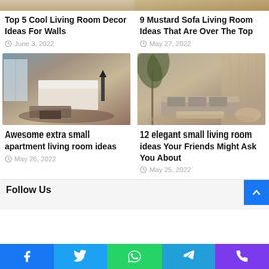[Figure (photo): Partial living room image top left - cropped]
[Figure (photo): Partial mustard sofa living room image top right - cropped]
Top 5 Cool Living Room Decor Ideas For Walls
June 3, 2022
9 Mustard Sofa Living Room Ideas That Are Over The Top
May 27, 2022
[Figure (photo): Hotel-style bedroom with sofa and city view window]
[Figure (photo): Elegant small living room with low-profile sofa and palm decor]
Awesome extra small apartment living room ideas
May 26, 2022
12 elegant small living room ideas Your Friends Might Ask You About
May 25, 2022
Follow Us